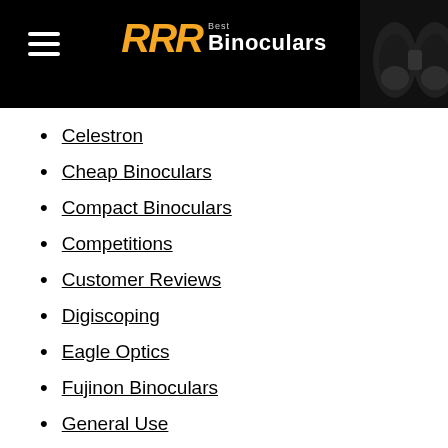RRR Best Binoculars
Celestron
Cheap Binoculars
Compact Binoculars
Competitions
Customer Reviews
Digiscoping
Eagle Optics
Fujinon Binoculars
General Use
GPO Binoculars
Hawke
Hiking Binoculars
Hunting Binoculars
Image Stabilization
Kahles Binoculars
Kids Binoculars